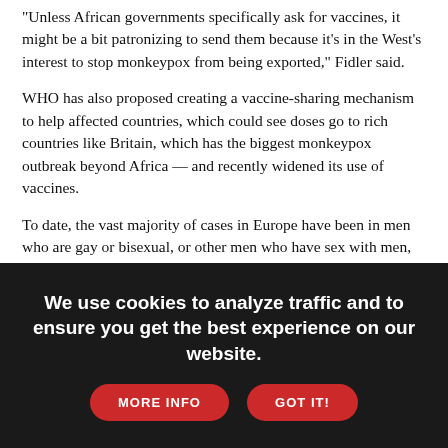"Unless African governments specifically ask for vaccines, it might be a bit patronizing to send them because it's in the West's interest to stop monkeypox from being exported," Fidler said.
WHO has also proposed creating a vaccine-sharing mechanism to help affected countries, which could see doses go to rich countries like Britain, which has the biggest monkeypox outbreak beyond Africa — and recently widened its use of vaccines.
To date, the vast majority of cases in Europe have been in men who are gay or bisexual, or other men who have sex with men, but scientists warn anyone in close contact with an infected person or their clothing or bedsheets is at risk of infection, regardless of their sexual orientation. People with monkeypox often experience symptoms like fever, body aches and a rash; most recover within weeks without needing medical care.
Even if WHO announces monkeypox is a global emergency, it's unclear what impact that might have.
In January 2020, WHO declared that COVID-19 was an international
We use cookies to analyze traffic and to ensure you get the best experience on our website.
MORE INFO
GOT IT!